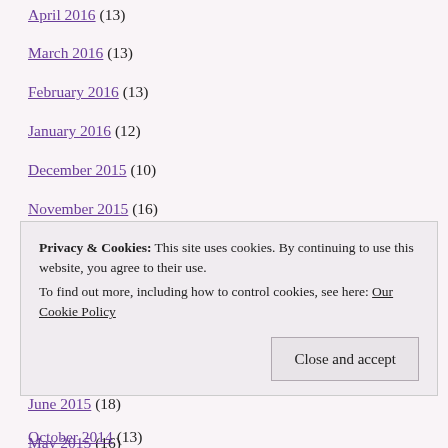April 2016 (13)
March 2016 (13)
February 2016 (13)
January 2016 (12)
December 2015 (10)
November 2015 (16)
October 2015 (20)
September 2015 (14)
August 2015 (3)
July 2015 (20)
June 2015 (18)
May 2015 (16)
April 2015 (9)
Privacy & Cookies: This site uses cookies. By continuing to use this website, you agree to their use. To find out more, including how to control cookies, see here: Our Cookie Policy
October 2014 (13)